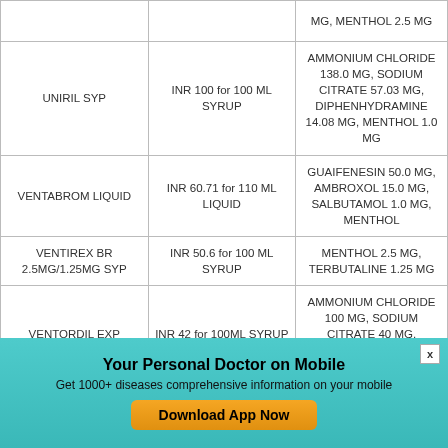| Drug Name | Price | Ingredients |
| --- | --- | --- |
|  |  | MG, MENTHOL 2.5 MG |
| UNIRIL SYP | INR 100 for 100 ML SYRUP | AMMONIUM CHLORIDE 138.0 MG, SODIUM CITRATE 57.03 MG, DIPHENHYDRAMINE 14.08 MG, MENTHOL 1.0 MG |
| VENTABROM LIQUID | INR 60.71 for 110 ML LIQUID | GUAIFENESIN 50.0 MG, AMBROXOL 15.0 MG, SALBUTAMOL 1.0 MG, MENTHOL |
| VENTIREX BR 2.5MG/1.25MG SYP | INR 50.6 for 100 ML SYRUP | MENTHOL 2.5 MG, TERBUTALINE 1.25 MG |
| VENTORDIL EXP | INR 42 for 100ML SYRUP | AMMONIUM CHLORIDE 100 MG, SODIUM CITRATE 40 MG, DIPHENHYDRAMINE 12 MG, MENTHOL 0.8 MG |
|  |  | METHYL SALICYLATE |
Your Personal Doctor on Mobile
Get 1000+ diseases comprehensive information on your mobile
Download App Now